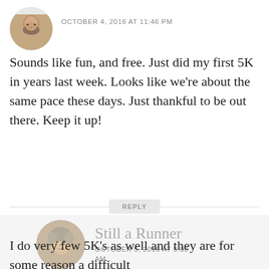[Figure (photo): Circular avatar photo of a man with beard, cropped at top]
OCTOBER 4, 2016 AT 11:46 PM
Sounds like fun, and free. Just did my first 5K in years last week. Looks like we're about the same pace these days. Just thankful to be out there. Keep it up!
REPLY
[Figure (photo): Circular avatar photo of an older woman with short gray hair]
Still a Runner
OCTOBER 5, 2016 AT 8:00 AM
I do very few 5K's as well and they are for some reason a difficult